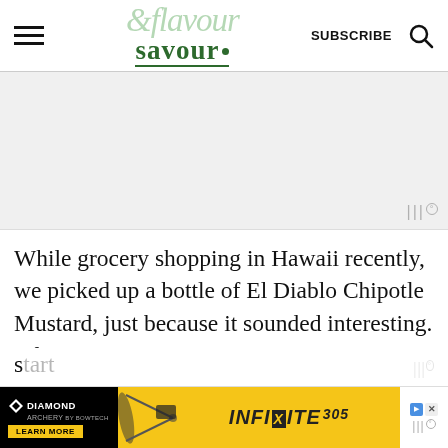& flavour savour — SUBSCRIBE
[Figure (other): Advertisement placeholder area with Mediavine watermark]
While grocery shopping in Hawaii recently, we picked up a bottle of El Diablo Chipotle Mustard, just because it sounded interesting. After one taste, we s...ing, e...le back
[Figure (other): Diamond Archery advertisement banner: INFINITE 305 bow with Learn More button on black and yellow background]